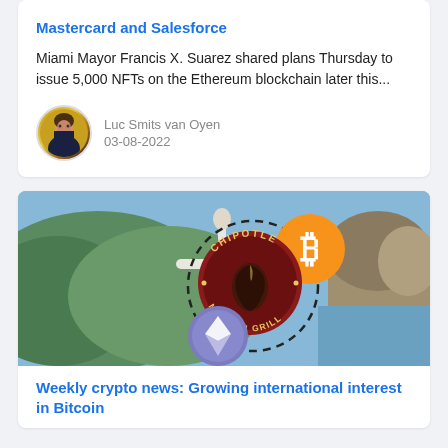Mastercard and Salesforce
Miami Mayor Francis X. Suarez shared plans Thursday to issue 5,000 NFTs on the Ethereum blockchain later this...
Luc Smits van Oyen
03-08-2022
[Figure (photo): Composite image showing Christ the Redeemer statue, a rocky coastal landscape, Chipotle Mexican Grill logo, Bitcoin gold coin, and Ethereum silver coin with dashed circle connecting crypto logos]
Weekly crypto news: Growing international interest in Bitcoin